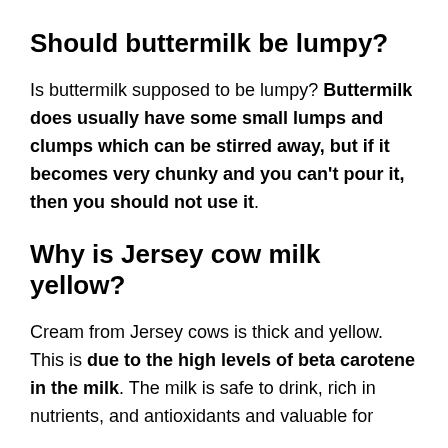Should buttermilk be lumpy?
Is buttermilk supposed to be lumpy? Buttermilk does usually have some small lumps and clumps which can be stirred away, but if it becomes very chunky and you can't pour it, then you should not use it.
Why is Jersey cow milk yellow?
Cream from Jersey cows is thick and yellow. This is due to the high levels of beta carotene in the milk. The milk is safe to drink, rich in nutrients, and antioxidants and valuable for